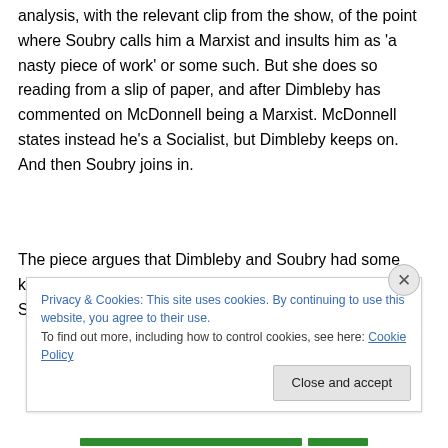analysis, with the relevant clip from the show, of the point where Soubry calls him a Marxist and insults him as 'a nasty piece of work' or some such. But she does so reading from a slip of paper, and after Dimbleby has commented on McDonnell being a Marxist. McDonnell states instead he's a Socialist, but Dimbleby keeps on. And then Soubry joins in.
The piece argues that Dimbleby and Soubry had some kind of meeting beforehand, at which Dimbleby told Soubry he was going to raise the issue of McDonnell's
Privacy & Cookies: This site uses cookies. By continuing to use this website, you agree to their use.
To find out more, including how to control cookies, see here: Cookie Policy